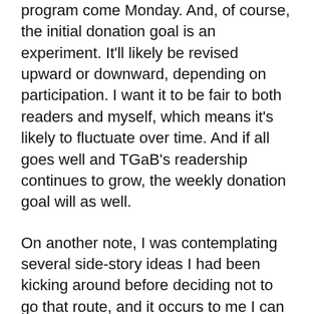program come Monday. And, of course, the initial donation goal is an experiment. It'll likely be revised upward or downward, depending on participation. I want it to be fair to both readers and myself, which means it's likely to fluctuate over time. And if all goes well and TGaB's readership continues to grow, the weekly donation goal will as well.
On another note, I was contemplating several side-story ideas I had been kicking around before deciding not to go that route, and it occurs to me I can still use them, and even use them to earn some money. So there's a tentative plan for there to be TGaB ebooks released, novel or novella-length projects set in the same universe and possibly featuring some of the same